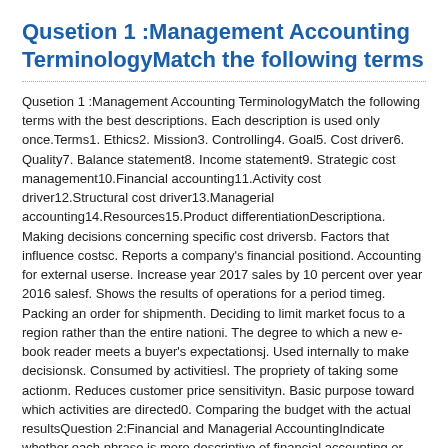Qusetion 1 :Management Accounting TerminologyMatch the following terms
Qusetion 1 :Management Accounting TerminologyMatch the following terms with the best descriptions. Each description is used only once.Terms1. Ethics2. Mission3. Controlling4. Goal5. Cost driver6. Quality7. Balance statement8. Income statement9. Strategic cost management10.Financial accounting11.Activity cost driver12.Structural cost driver13.Managerial accounting14.Resources15.Product differentiationDescriptiona. Making decisions concerning specific cost driversb. Factors that influence costsc. Reports a company's financial positiond. Accounting for external userse. Increase year 2017 sales by 10 percent over year 2016 salesf. Shows the results of operations for a period timeg. Packing an order for shipmenth. Deciding to limit market focus to a region rather than the entire nationi. The degree to which a new e-book reader meets a buyer's expectationsj. Used internally to make decisionsk. Consumed by activitiesl. The propriety of taking some actionm. Reduces customer price sensitivityn. Basic purpose toward which activities are directed0. Comparing the budget with the actual resultsQuestion 2:Financial and Managerial AccountingIndicate whether each phrase is more descriptive of financial accounting or managerial accounting.a May be subjectiveb Often used to state corporate goalsc Typically prepared quarterly or annuallyd May measure time or customer satisfactione Future orientedf Has a greater emphasis on cost-benefit analysisg Keeps records of assets and liabilitiesh Highly aggregated statementsi Must conform to external standardsj Special-purpose reportsk Decision-making tooll Income